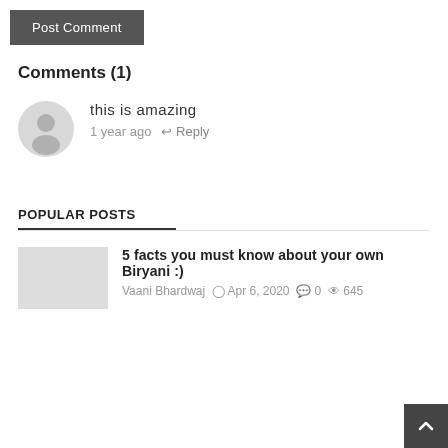Post Comment
Comments (1)
this is amazing
1 year ago  ↩ Reply
POPULAR POSTS
5 facts you must know about your own Biryani :)
Vaani Bhardwaj  Apr 6, 2020  0  645